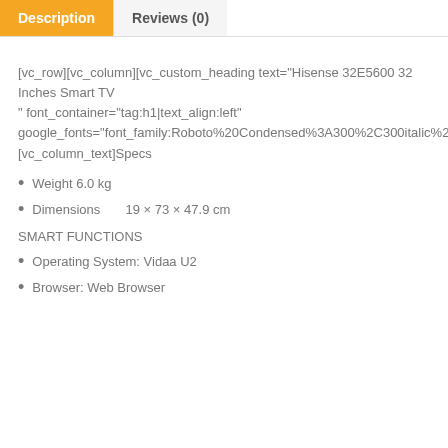Description
Reviews (0)
[vc_row][vc_column][vc_custom_heading text="Hisense 32E5600 32 Inches Smart TV
" font_container="tag:h1|text_align:left" google_fonts="font_family:Roboto%20Condensed%3A300%2C300italic%2Cregular%2Citalic%2C700%2C700italic|font_style:400%20regular%3A400%3Anormal"][vc_column_text]Specs
Weight 6.0 kg
Dimensions      19 × 73 × 47.9 cm
SMART FUNCTIONS
Operating System: Vidaa U2
Browser: Web Browser